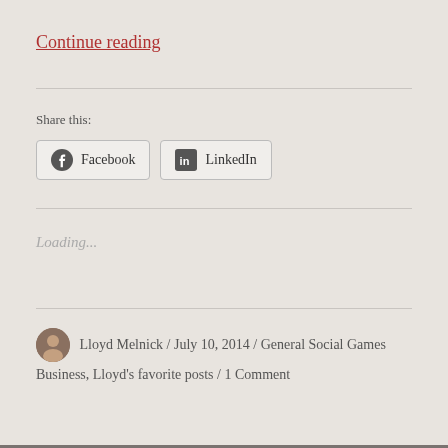Continue reading
Share this:
[Figure (other): Facebook and LinkedIn share buttons]
Loading...
Lloyd Melnick / July 10, 2014 / General Social Games Business, Lloyd's favorite posts / 1 Comment